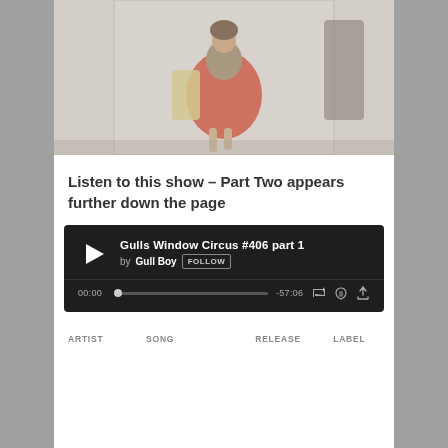[Figure (photo): A woman wearing a red/coral skirt and carrying a guitar case, walking on a street in a black-and-white/desaturated photo with color accent on skirt.]
Listen to this show – Part Two appears further down the page
[Figure (screenshot): SoundCloud-style audio player widget. Track: 'Gulls Window Circus #406 part 1' by Gull Boy. Time: 00:00 / -57:06. Controls: play, progress bar, repeat, like, share.]
| ARTIST | SONG | RELEASE | LABEL |
| --- | --- | --- | --- |